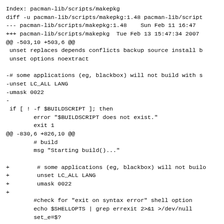Index: pacman-lib/scripts/makepkg
diff -u pacman-lib/scripts/makepkg:1.48 pacman-lib/script
--- pacman-lib/scripts/makepkg:1.48    Sun Feb 11 16:47
+++ pacman-lib/scripts/makepkg  Tue Feb 13 15:47:34 2007
@@ -503,10 +503,6 @@
 unset replaces depends conflicts backup source install b
 unset options noextract

-# some applications (eg, blackbox) will not build with s
-unset LC_ALL LANG
-umask 0022
-
 if [ ! -f $BUILDSCRIPT ]; then
        error "$BUILDSCRIPT does not exist."
        exit 1
@@ -830,6 +826,10 @@
        # build
        msg "Starting build()..."

+        # some applications (eg, blackbox) will not builo
+        unset LC_ALL LANG
+        umask 0022
+
        #check for "exit on syntax error" shell option
        echo $SHELLOPTS | grep errexit 2>&1 >/dev/null
        set_e=$?